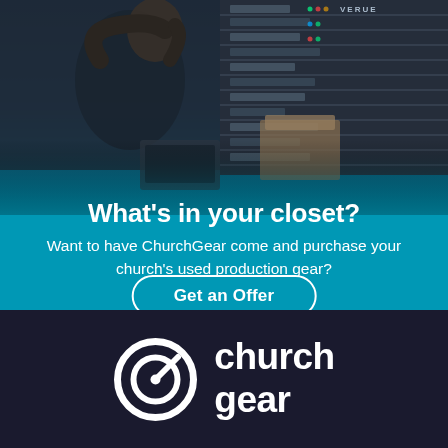[Figure (photo): Man sitting with hands on head looking stressed, surrounded by audio/video production equipment and rack-mounted gear in a dark room]
What's in your closet?
Want to have ChurchGear come and purchase your church's used production gear?
Get an Offer
[Figure (logo): ChurchGear logo: circular target/checkmark icon next to the words 'church gear' in white on dark navy background]